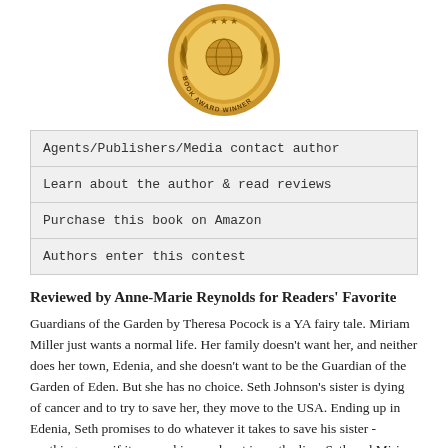[Figure (illustration): Gold circular Book Award Winner medal/seal with decorative laurel leaves and a globe/book design in the center]
Agents/Publishers/Media contact author
Learn about the author & read reviews
Purchase this book on Amazon
Authors enter this contest
Reviewed by Anne-Marie Reynolds for Readers' Favorite
Guardians of the Garden by Theresa Pocock is a YA fairy tale. Miriam Miller just wants a normal life. Her family doesn't want her, and neither does her town, Edenia, and she doesn't want to be the Guardian of the Garden of Eden. But she has no choice. Seth Johnson's sister is dying of cancer and to try to save her, they move to the USA. Ending up in Edenia, Seth promises to do whatever it takes to save his sister - anything, even if it means his own heart is on the line. Seth and Miriam are drawn to one another, but neither has time to deal with what Fate has in store for them. Seth